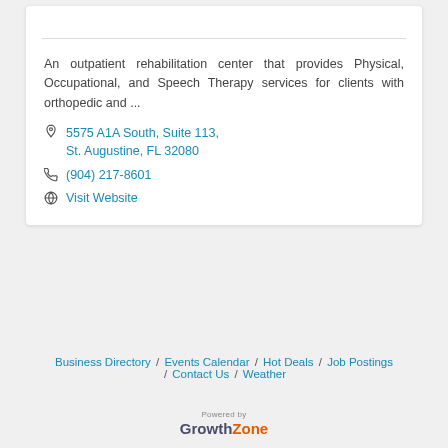An outpatient rehabilitation center that provides Physical, Occupational, and Speech Therapy services for clients with orthopedic and...
5575 A1A South, Suite 113, St. Augustine, FL 32080
(904) 217-8601
Visit Website
Business Directory / Events Calendar / Hot Deals / Job Postings / Contact Us / Weather
[Figure (logo): Powered by GrowthZone logo — 'Growth' in dark purple/navy, 'Zone' in orange]